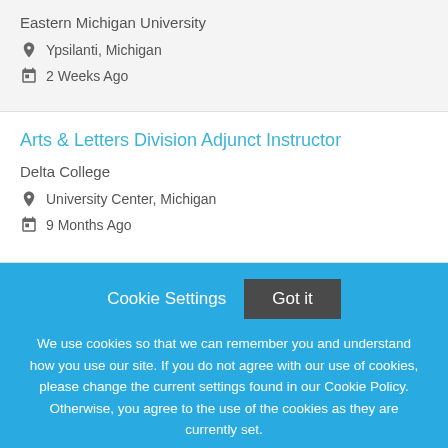Eastern Michigan University
Ypsilanti, Michigan
2 Weeks Ago
Arts & Letters Division Adjunct Instructor
Delta College
University Center, Michigan
9 Months Ago
Cookie Settings  Got it
We use cookies so that we can remember you and understand how you use our site. If you do not agree with our use of cookies, please change the current settings found in our Cookie Policy. Otherwise, you agree to the use of the cookies as they are currently set.